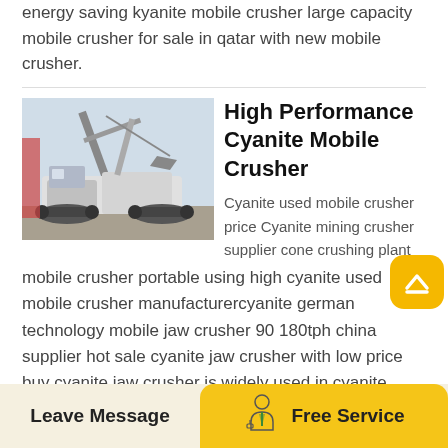energy saving kyanite mobile crusher large capacity mobile crusher for sale in qatar with new mobile crusher.
[Figure (photo): Industrial mobile crusher machine on tracks with crane arm, photographed outdoors]
High Performance Cyanite Mobile Crusher
Cyanite used mobile crusher price Cyanite mining crusher supplier cone crushing plant mobile crusher portable using high cyanite used mobile crusher manufacturercyanite german technology mobile jaw crusher 90 180tph china supplier hot sale cyanite jaw crusher with low price buy cyanite jaw crusher is widely used in cyanite crusher supplier.
Leave Message   Free Service